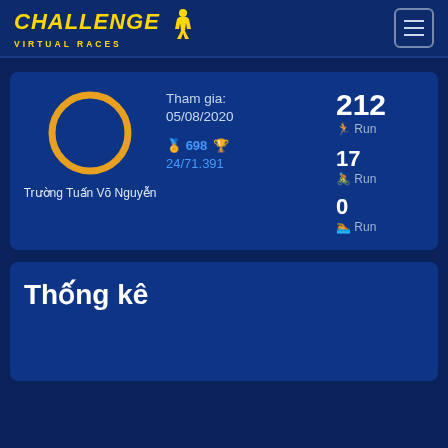Challenge Virtual Races
Trường Tuấn Võ Nguyễn
Tham gia: 05/08/2020
698 · 24/71.391
212 Run
17 Run
0 Run
Thống kê